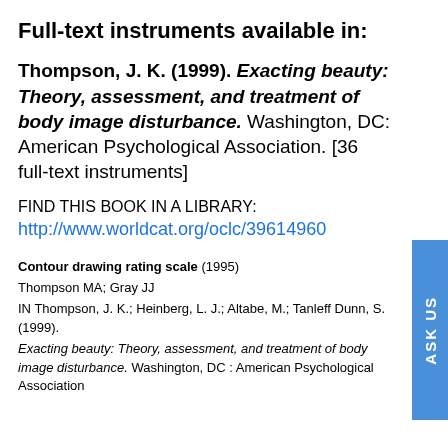Full-text instruments available in:
Thompson, J. K. (1999). Exacting beauty: Theory, assessment, and treatment of body image disturbance. Washington, DC: American Psychological Association. [36 full-text instruments]
FIND THIS BOOK IN A LIBRARY: http://www.worldcat.org/oclc/39614960
Contour drawing rating scale (1995)
Thompson MA; Gray JJ
IN Thompson, J. K.; Heinberg, L. J.; Altabe, M.; Tanleff Dunn, S. (1999).
Exacting beauty: Theory, assessment, and treatment of body image disturbance. Washington, DC : American Psychological Association